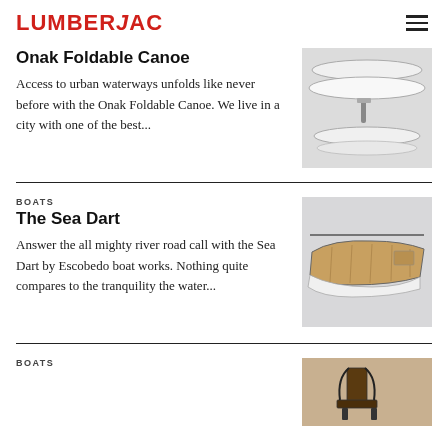LUMBERJAC
Onak Foldable Canoe
Access to urban waterways unfolds like never before with the Onak Foldable Canoe. We live in a city with one of the best...
[Figure (photo): Onak foldable canoe shown disassembled and assembled, top-down view on white background]
BOATS
The Sea Dart
Answer the all mighty river road call with the Sea Dart by Escobedo boat works. Nothing quite compares to the tranquility the water...
[Figure (photo): The Sea Dart wooden boat by Escobedo, side view showing wooden interior and white hull]
BOATS